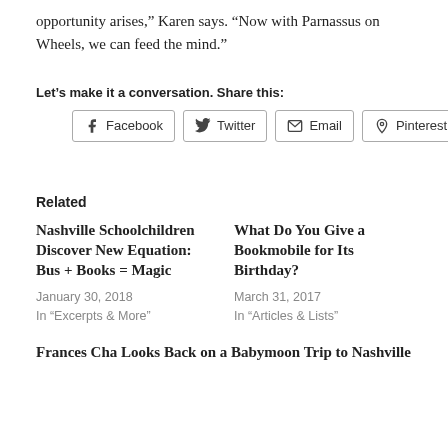opportunity arises,” Karen says. “Now with Parnassus on Wheels, we can feed the mind.”
Let’s make it a conversation. Share this:
[Figure (other): Social share buttons: Facebook, Twitter, Email, Pinterest]
Related
Nashville Schoolchildren Discover New Equation: Bus + Books = Magic
January 30, 2018
In “Excerpts & More”
What Do You Give a Bookmobile for Its Birthday?
March 31, 2017
In “Articles & Lists”
Frances Cha Looks Back on a Babymoon Trip to Nashville